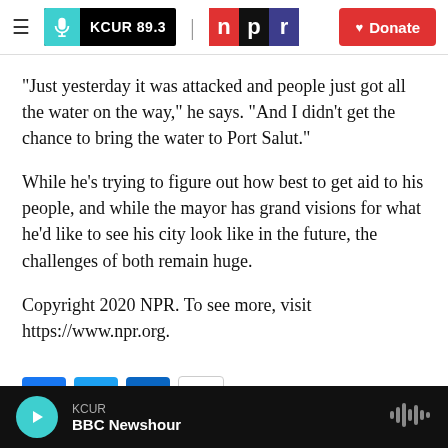KCUR 89.3 | npr | Donate
"Just yesterday it was attacked and people just got all the water on the way," he says. "And I didn't get the chance to bring the water to Port Salut."
While he's trying to figure out how best to get aid to his people, and while the mayor has grand visions for what he'd like to see his city look like in the future, the challenges of both remain huge.
Copyright 2020 NPR. To see more, visit https://www.npr.org.
KCUR — BBC Newshour